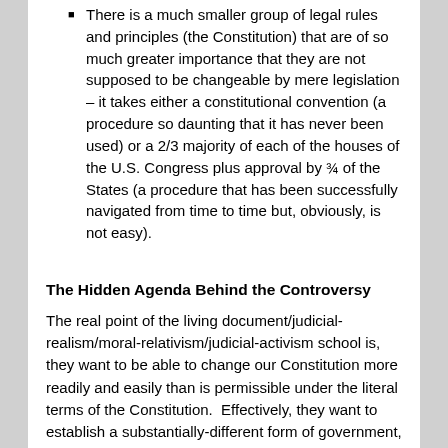There is a much smaller group of legal rules and principles (the Constitution) that are of so much greater importance that they are not supposed to be changeable by mere legislation – it takes either a constitutional convention (a procedure so daunting that it has never been used) or a 2/3 majority of each of the houses of the U.S. Congress plus approval by ¾ of the States (a procedure that has been successfully navigated from time to time but, obviously, is not easy).
The Hidden Agenda Behind the Controversy
The real point of the living document/judicial-realism/moral-relativism/judicial-activism school is, they want to be able to change our Constitution more readily and easily than is permissible under the literal terms of the Constitution.  Effectively, they want to establish a substantially-different form of government, one much closer to the pure democracy that our Founders expressly